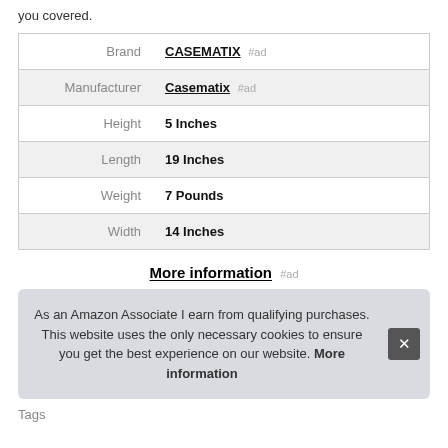you covered.
| Brand | CASEMATIX #ad |
| Manufacturer | Casematix #ad |
| Height | 5 Inches |
| Length | 19 Inches |
| Weight | 7 Pounds |
| Width | 14 Inches |
More information #ad
As an Amazon Associate I earn from qualifying purchases. This website uses the only necessary cookies to ensure you get the best experience on our website. More information
Tags